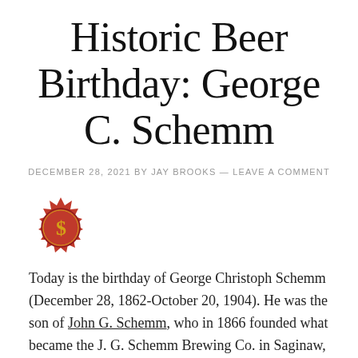Historic Beer Birthday: George C. Schemm
DECEMBER 28, 2021 BY JAY BROOKS — LEAVE A COMMENT
[Figure (logo): Red circular badge/seal with a decorative letter S monogram in gold on a red rosette background]
Today is the birthday of George Christoph Schemm (December 28, 1862-October 20, 1904). He was the son of John G. Schemm, who in 1866 founded what became the J. G. Schemm Brewing Co. in Saginaw, Michigan. George took over his father's